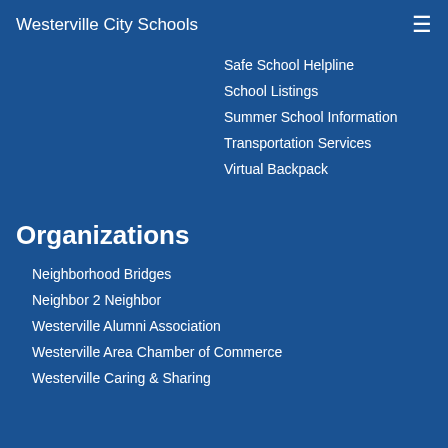Westerville City Schools
Safe School Helpline
School Listings
Summer School Information
Transportation Services
Virtual Backpack
Organizations
Neighborhood Bridges
Neighbor 2 Neighbor
Westerville Alumni Association
Westerville Area Chamber of Commerce
Westerville Caring & Sharing